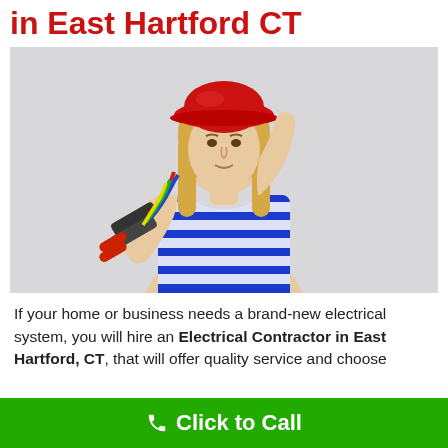in East Hartford CT
[Figure (photo): Woman with blonde hair wearing a red hard hat and blue-and-white striped tank top, holding wire crimping tools and electrical wires, posing against a light grey background.]
If your home or business needs a brand-new electrical system, you will hire an Electrical Contractor in East Hartford, CT, that will offer quality service and choose
Click to Call